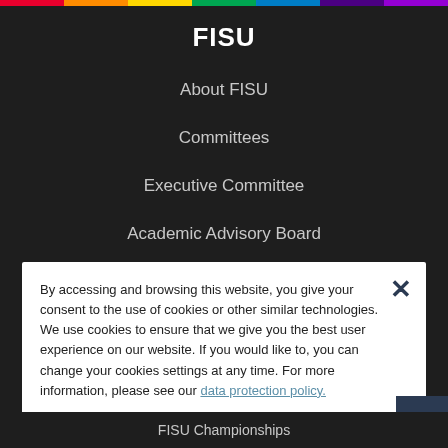FISU
About FISU
Committees
Executive Committee
Academic Advisory Board
By accessing and browsing this website, you give your consent to the use of cookies or other similar technologies. We use cookies to ensure that we give you the best user experience on our website. If you would like to, you can change your cookies settings at any time. For more information, please see our data protection policy.
I AGREE
FISU Championships